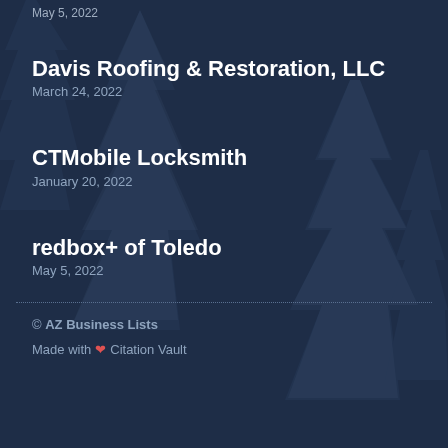May 5, 2022
Davis Roofing & Restoration, LLC
March 24, 2022
CTMobile Locksmith
January 20, 2022
redbox+ of Toledo
May 5, 2022
© AZ Business Lists
Made with ❤ Citation Vault